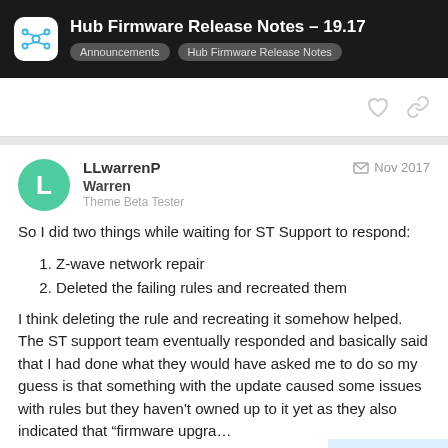Hub Firmware Release Notes – 19.17 | Announcements | Hub Firmware Release Notes
LLwarrenP  Warren  Theme Beta Tester  Nov 2017
So I did two things while waiting for ST Support to respond:
1. Z-wave network repair
2. Deleted the failing rules and recreated them
I think deleting the rule and recreating it somehow helped. The ST support team eventually responded and basically said that I had done what they would have asked me to do so my guess is that something with the update caused some issues with rules but they haven't owned up to it yet as they also indicated that "firmware upgra... cause those issues usually." I'm monitoring...